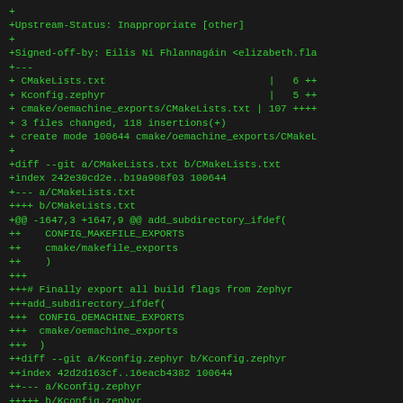+
+Upstream-Status: Inappropriate [other]
+
+Signed-off-by: Eilis Ni Fhlannagáin <elizabeth.fla
+---
+ CMakeLists.txt                           |   6 ++
+ Kconfig.zephyr                           |   5 ++
+ cmake/oemachine_exports/CMakeLists.txt | 107 ++++
+ 3 files changed, 118 insertions(+)
+ create mode 100644 cmake/oemachine_exports/CMakeL
+
+diff --git a/CMakeLists.txt b/CMakeLists.txt
+index 242e30cd2e..b19a908f03 100644
++-- a/CMakeLists.txt
+++++ b/CMakeLists.txt
++@@ -1647,3 +1647,9 @@ add_subdirectory_ifdef(
++     CONFIG_MAKEFILE_EXPORTS
++     cmake/makefile_exports
++     )
+++
+++# Finally export all build flags from Zephyr
+++add_subdirectory_ifdef(
+++ CONFIG_OEMACHINE_EXPORTS
+++ cmake/oemachine_exports
+++ )
++diff --git a/Kconfig.zephyr b/Kconfig.zephyr
++index 42d2d163cf..16eacb4382 100644
++--- a/Kconfig.zephyr
+++++ b/Kconfig.zephyr
+++@@ -455,6 +455,11 @@ config MAKEFILE_EXPORTS